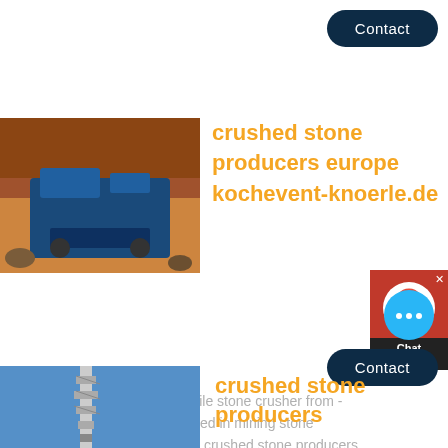Contact
[Figure (photo): Blue mobile stone crusher machine in a quarry with red/brown rocky terrain]
crushed stone producers europe kochevent-knoerle.de
[Figure (illustration): Chat widget with headset icon, red background, and Chat Now label]
crushed stone europe yyqx mobile stone crusher from -style impact crusher is widely used in mining stone crushing, building,building rubbi. crushed stone producers turkey
[Figure (illustration): Cyan chat bubble button with ellipsis icon]
Contact
[Figure (photo): Industrial tower structure against blue sky]
crushed stone producers